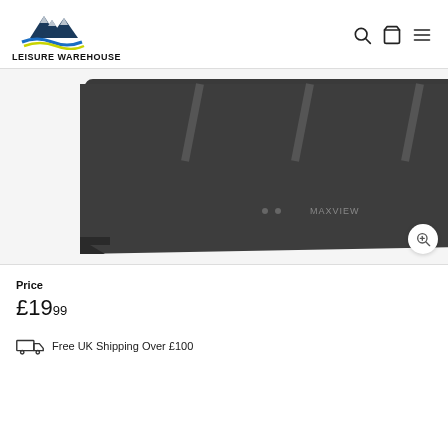[Figure (logo): Leisure Warehouse logo with mountain and wave graphic above bold text reading LEISURE WAREHOUSE]
[Figure (photo): Close-up product photo of a dark grey Maxview flat-pack satellite antenna/device on white background]
Price
£19.99
Free UK Shipping Over £100